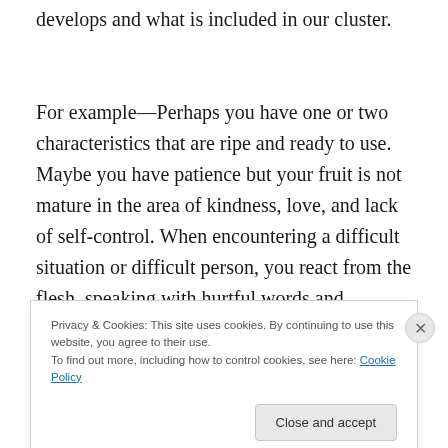develops and what is included in our cluster.
For example—Perhaps you have one or two characteristics that are ripe and ready to use. Maybe you have patience but your fruit is not mature in the area of kindness, love, and lack of self-control. When encountering a difficult situation or difficult person, you react from the flesh, speaking with hurtful words and
Privacy & Cookies: This site uses cookies. By continuing to use this website, you agree to their use.
To find out more, including how to control cookies, see here: Cookie Policy